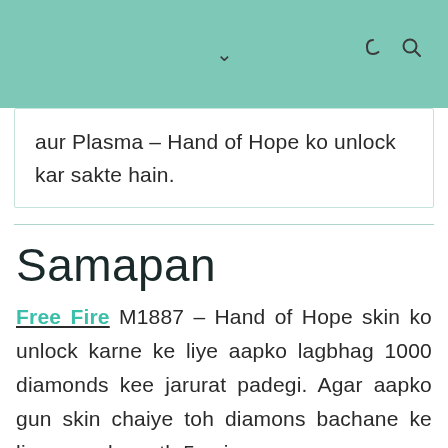aur Plasma – Hand of Hope ko unlock kar sakte hain.
Samapan
Free Fire M1887 – Hand of Hope skin ko unlock karne ke liye aapko lagbhag 1000 diamonds kee jarurat padegi. Agar aapko gun skin chaiye toh diamons bachane ke liye aap ek saath 5 spins